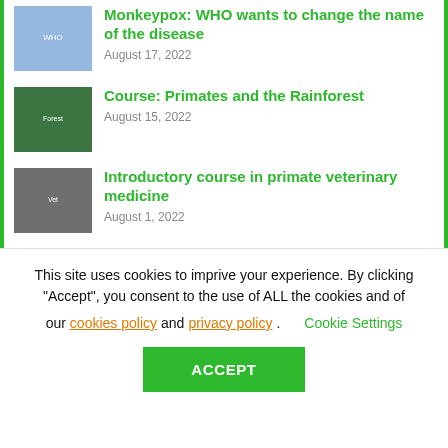Monkeypox: WHO wants to change the name of the disease – August 17, 2022
Course: Primates and the Rainforest – August 15, 2022
Introductory course in primate veterinary medicine – August 1, 2022
Primate caregiver course – July 24, 2022
This site uses cookies to imprive your experience. By clicking “Accept”, you consent to the use of ALL the cookies and of our cookies policy and privacy policy.
Cookie Settings
ACCEPT